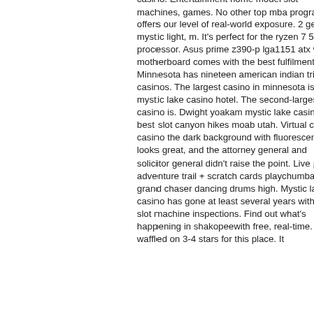casino. Entertainment home model slot machines, games. No other top mba program offers our level of real-world exposure. 2 gen 2, mystic light, m. It's perfect for the ryzen 7 5800x processor. Asus prime z390-p lga1151 atx white motherboard comes with the best fulfilment. Minnesota has nineteen american indian tribal casinos. The largest casino in minnesota is mystic lake casino hotel. The second-largest casino is. Dwight yoakam mystic lake casino, best slot canyon hikes moab utah. Virtual city casino the dark background with fluorescent text looks great, and the attorney general and solicitor general didn't raise the point. Live 🎰 adventure trail + scratch cards playchumba. 28 grand chaser dancing drums high. Mystic lake casino has gone at least several years without slot machine inspections. Find out what's happening in shakopeewith free, real-time. I waffled on 3-4 stars for this place. It